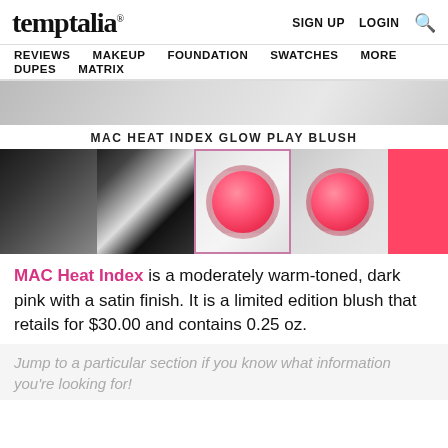temptalia® — SIGN UP LOGIN [search]
REVIEWS | MAKEUP | FOUNDATION | SWATCHES | MORE | DUPES | MATRIX
[Figure (photo): Partial top of product/model photo, cropped]
MAC HEAT INDEX GLOW PLAY BLUSH
[Figure (photo): Thumbnail strip: model face side, model face front, MAC Glow Play Blush compact (active/selected with pink border), blush compact top view, blush color swatch]
MAC Heat Index is a moderately warm-toned, dark pink with a satin finish. It is a limited edition blush that retails for $30.00 and contains 0.25 oz.
Jump to a particular section if you know what information you're looking for!